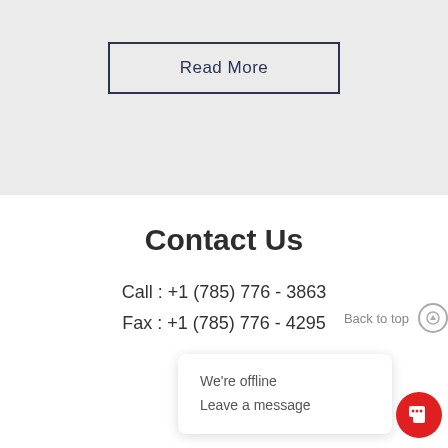Read More
Contact Us
Call : +1 (785) 776 - 3863
Fax : +1 (785) 776 - 4295
Agtech, Inc.
8801
Manha
Back to top
We're offline
Leave a message